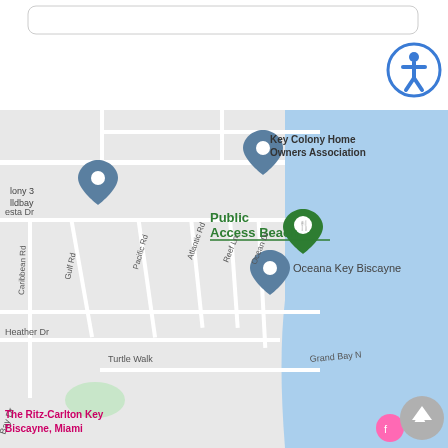[Figure (screenshot): Google Maps screenshot showing Key Biscayne area with streets (Caribbean Rd, Gulf Rd, Pacific Rd, Atlantic Rd, Reef Ln, Ocean Dr, Heather Dr, Turtle Walk, Grand Bay N, Bay Dr), locations (Key Colony Home Owners Association, Public Access Beach, Oceana Key Biscayne, The Ritz-Carlton Key Biscayne Miami, Lightkeepers), blue ocean on the right, accessibility icon button top right, scroll-up button bottom right, and a search bar at top.]